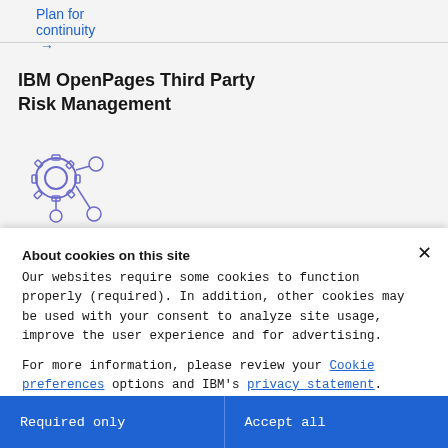Plan for continuity →
IBM OpenPages Third Party Risk Management
[Figure (illustration): Icon showing a gear connected to two circles via lines, rendered in outline style with a purple/indigo color, representing third-party integration or workflow.]
About cookies on this site
Our websites require some cookies to function properly (required). In addition, other cookies may be used with your consent to analyze site usage, improve the user experience and for advertising.
For more information, please review your Cookie preferences options and IBM's privacy statement.
Required only
Accept all